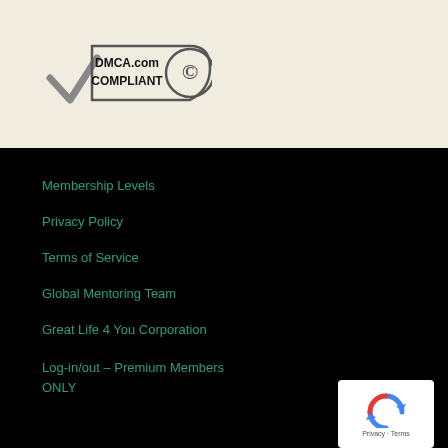[Figure (logo): DMCA.com Compliant badge with checkmark and copyright symbol]
Membership Levels
Privacy Policy
Terms of Service
Global Mentoring Team
Great Life 4 You Corporation
Log-in/out – Premium Members ONLY
[Figure (logo): Google reCAPTCHA badge with Privacy and Terms links]